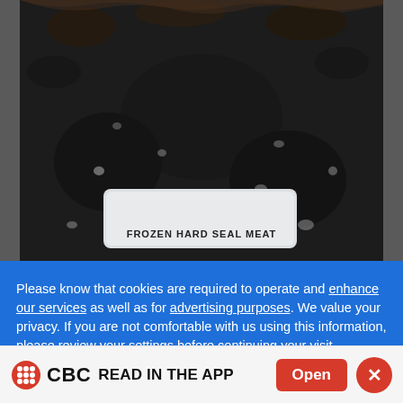[Figure (photo): Close-up photo of dark frozen seal meat in a clear plastic package. A white label with rounded corners is visible at the bottom of the package, partially cut off, showing text 'FROZEN HARD SEAL MEAT'.]
Please know that cookies are required to operate and enhance our services as well as for advertising purposes. We value your privacy. If you are not comfortable with us using this information, please review your settings before continuing your visit.
CBC READ IN THE APP Open